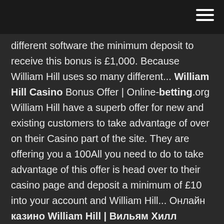different software the minimum deposit to receive this bonus is £1,000. Because William Hill uses so many different... William Hill Casino Bonus Offer | Online-betting.org William Hill have a superb offer for new and existing customers to take advantage of over on their Casino part of the site. They are offering you a 100All you need to do to take advantage of this offer is head over to their casino page and deposit a minimum of £10 into your account and William Hill... Онлайн казино William Hill | Вильям Хилл Онлайн покер и казино Вильям Хилл. Live Casino William Hill, дает зарегистрированным игрокам возможность испытать несравнимые ощущения азартной игры в настоящем казино. Игры на этой онлайн площадке подкупают своей простотой, с которой